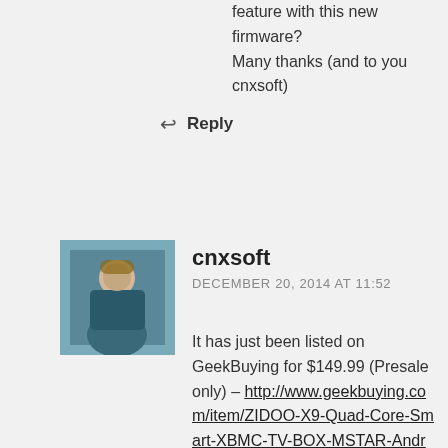feature with this new firmware?
Many thanks (and to you cnxsoft)
↩ Reply
[Figure (photo): Avatar photo of cnxsoft user]
cnxsoft
DECEMBER 20, 2014 AT 11:52
It has just been listed on GeekBuying for $149.99 (Presale only) – http://www.geekbuying.com/item/ZIDOO-X9-Quad-Core-Smart-XBMC-TV-BOX-MSTAR-Android-2G-8G-4K-H-265-Player-7-1-Pass-Through-Dolby-w–HDMI-in-USB3-0-2G-5G-WiFi-BT-339305.html
↩ Reply
[Figure (photo): Avatar photo of mirror user]
mirror